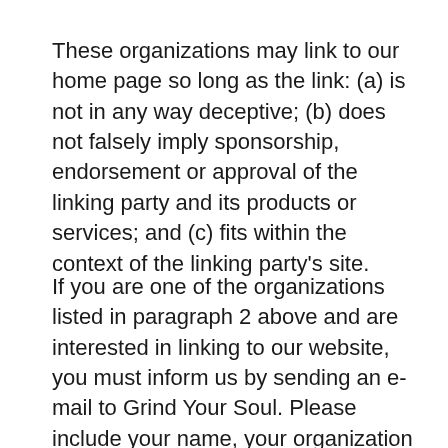These organizations may link to our home page so long as the link: (a) is not in any way deceptive; (b) does not falsely imply sponsorship, endorsement or approval of the linking party and its products or services; and (c) fits within the context of the linking party's site.
If you are one of the organizations listed in paragraph 2 above and are interested in linking to our website, you must inform us by sending an e-mail to Grind Your Soul. Please include your name, your organization name, contact information as well as the URL of your site, a list of any URLs from which you intend to link to our Website, and a list of the URLs on our site to which you would like to